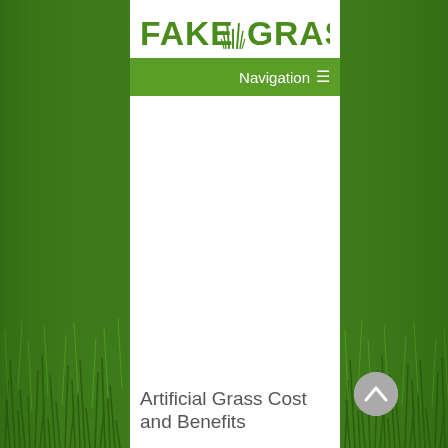[Figure (logo): FAKE GRASS logo with grass icon between FAKE and GRASS text, in dark green bold font on white background]
Navigation ≡
Artificial Grass Cost and Benefits